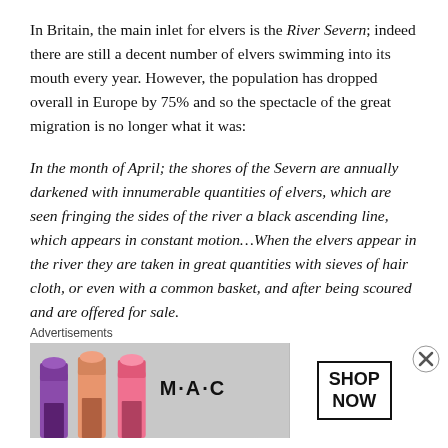In Britain, the main inlet for elvers is the River Severn; indeed there are still a decent number of elvers swimming into its mouth every year. However, the population has dropped overall in Europe by 75% and so the spectacle of the great migration is no longer what it was:
In the month of April; the shores of the Severn are annually darkened with innumerable quantities of elvers, which are seen fringing the sides of the river a black ascending line, which appears in constant motion…When the elvers appear in the river they are taken in great quantities with sieves of hair cloth, or even with a common basket, and after being scoured and are offered for sale.
Advertisements
[Figure (photo): MAC Cosmetics advertisement showing colorful lipsticks with SHOP NOW text in a box]